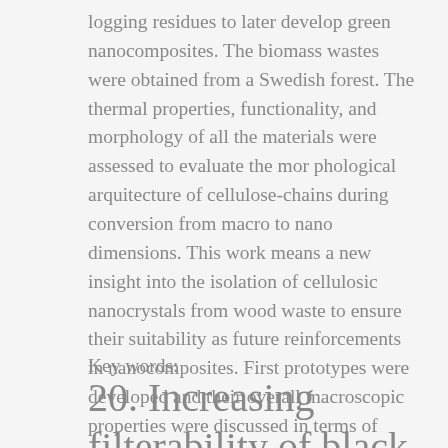logging residues to later develop green nanocomposites. The biomass wastes were obtained from a Swedish forest. The thermal properties, functionality, and morphology of all the materials were assessed to evaluate the mor phological arquitecture of cellulose-chains during conversion from macro to nano dimensions. This work means a new insight into the isolation of cellulosic nanocrystals from wood waste to ensure their suitability as future reinforcements in nanocomposites. First prototypes were developed and their overall macroscopic properties were discussed in terms of their mechanical and thermal performance.
Key words:
20. Increasing filterability of black liquors by prefiltration